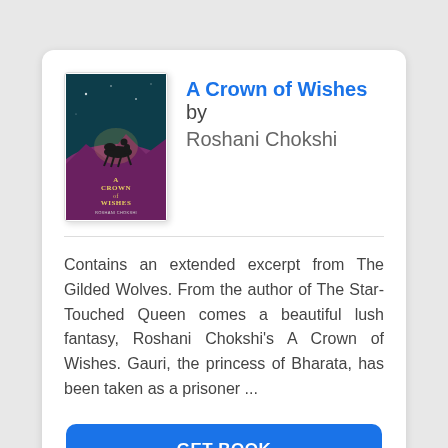[Figure (illustration): Book cover of 'A Crown of Wishes' by Roshani Chokshi — teal/dark fantasy cover with a rider on a horse against a purple sky]
A Crown of Wishes by Roshani Chokshi
Contains an extended excerpt from The Gilded Wolves. From the author of The Star-Touched Queen comes a beautiful lush fantasy, Roshani Chokshi's A Crown of Wishes. Gauri, the princess of Bharata, has been taken as a prisoner ...
GET BOOK